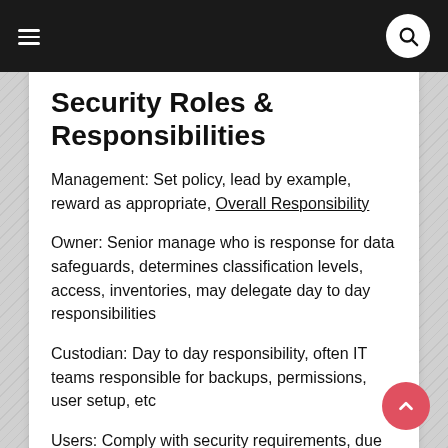Security Roles & Responsibilities
Management: Set policy, lead by example, reward as appropriate, Overall Responsibility
Owner: Senior manage who is response for data safeguards, determines classification levels, access, inventories, may delegate day to day responsibilities
Custodian: Day to day responsibility, often IT teams responsible for backups, permissions, user setup, etc
Users: Comply with security requirements, due care, may need training and reporting
Risk Management Concepts